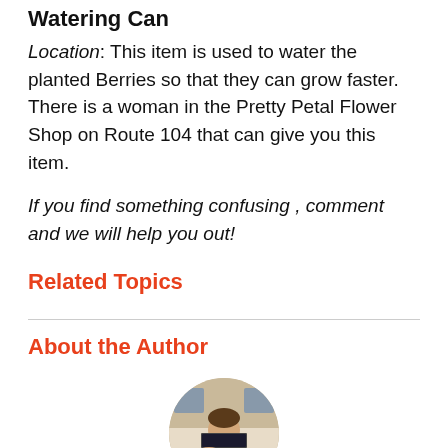Watering Can
Location: This item is used to water the planted Berries so that they can grow faster. There is a woman in the Pretty Petal Flower Shop on Route 104 that can give you this item.
If you find something confusing , comment and we will help you out!
Related Topics
About the Author
[Figure (photo): Circular author profile photo showing a person sitting at a desk with a laptop, wearing a blue shirt]